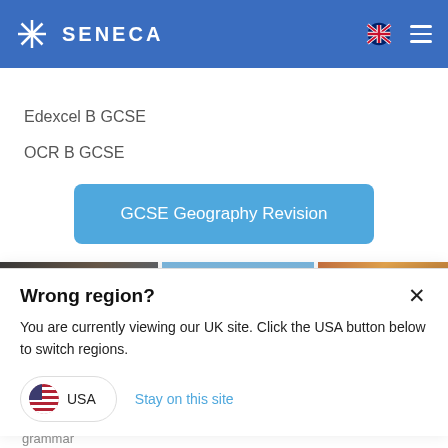SENECA
Edexcel B GCSE
OCR B GCSE
GCSE Geography Revision
[Figure (photo): Three image thumbnails side by side: dark photo, blue sky, golden/orange sunset]
Wrong region?
You are currently viewing our UK site. Click the USA button below to switch regions.
USA
Stay on this site
grammar